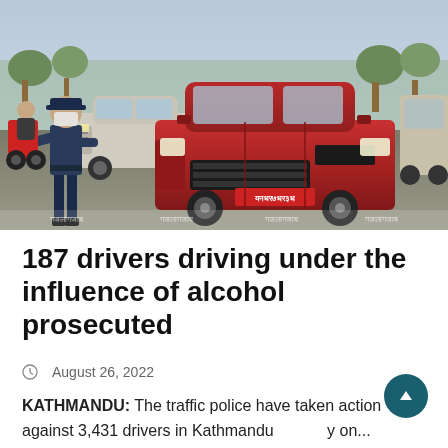[Figure (photo): Traffic police officer stopping vehicles at a road checkpoint in Kathmandu. A red Mahindra KUV100 SUV is prominent in the foreground, with a white SUV and motorcycles in the background. The officer is standing in the road directing traffic. Nepali text watermarks appear at the bottom of the image.]
187 drivers driving under the influence of alcohol prosecuted
August 26, 2022
KATHMANDU: The traffic police have taken action against 3,431 drivers in Kathmandu valley on...